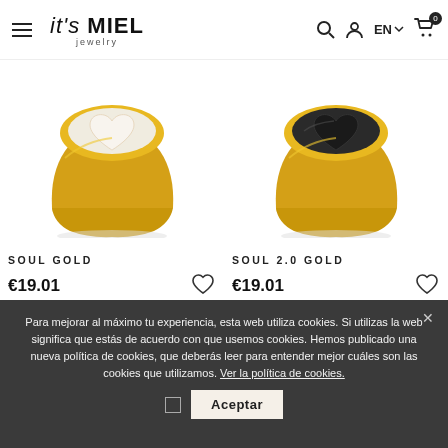it's MIEL jewelry — EN — cart 0
[Figure (photo): Gold signet ring with white mother-of-pearl heart-shaped inlay — SOUL GOLD product photo]
SOUL GOLD
€19.01
[Figure (photo): Gold signet ring with black onyx heart-shaped inlay — SOUL 2.0 GOLD product photo]
SOUL 2.0 GOLD
€19.01
Para mejorar al máximo tu experiencia, esta web utiliza cookies. Si utilizas la web significa que estás de acuerdo con que usemos cookies. Hemos publicado una nueva política de cookies, que deberás leer para entender mejor cuáles son las cookies que utilizamos. Ver la política de cookies.